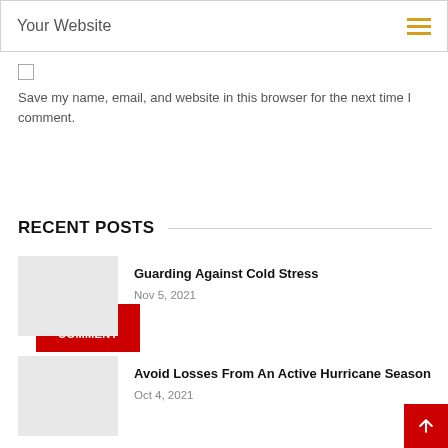Your Website
Save my name, email, and website in this browser for the next time I comment.
POST COMMENT
RECENT POSTS
Guarding Against Cold Stress
Nov 5, 2021
Avoid Losses From An Active Hurricane Season
Oct 4, 2021